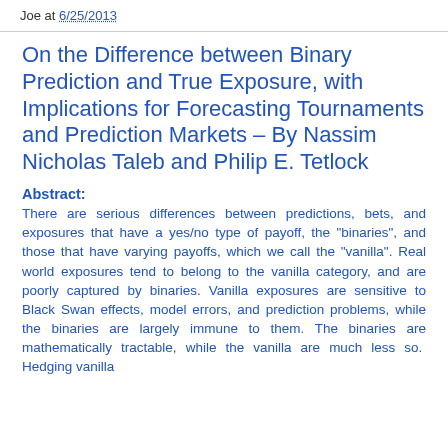Joe at 6/25/2013
On the Difference between Binary Prediction and True Exposure, with Implications for Forecasting Tournaments and Prediction Markets – By Nassim Nicholas Taleb and Philip E. Tetlock
Abstract:
There are serious differences between predictions, bets, and exposures that have a yes/no type of payoff, the "binaries", and those that have varying payoffs, which we call the "vanilla". Real world exposures tend to belong to the vanilla category, and are poorly captured by binaries. Vanilla exposures are sensitive to Black Swan effects, model errors, and prediction problems, while the binaries are largely immune to them. The binaries are mathematically tractable, while the vanilla are much less so. Hedging vanilla